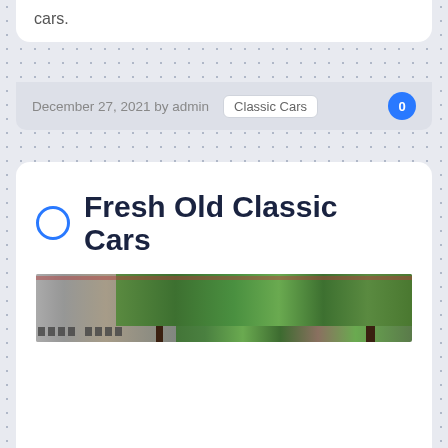cars.
December 27, 2021 by admin   Classic Cars   0
Fresh Old Classic Cars
[Figure (photo): A wide banner photo showing trees and a building exterior with a parking area, in a classic cars blog post context.]